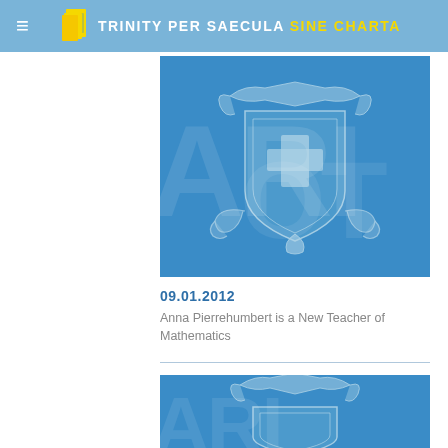TRINITY PER SAECULA SINE CHARTA
[Figure (illustration): Blue card with a decorative heraldic crest/shield emblem centered on a blue background, with faint watermark letters behind it.]
09.01.2012
Anna Pierrehumbert is a New Teacher of Mathematics
[Figure (illustration): Second blue card partially visible at the bottom, showing the top of the same heraldic crest emblem on a blue background.]